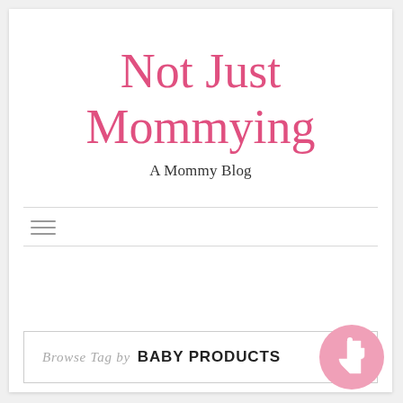Not Just Mommying
A Mommy Blog
Browse Tag by  BABY PRODUCTS